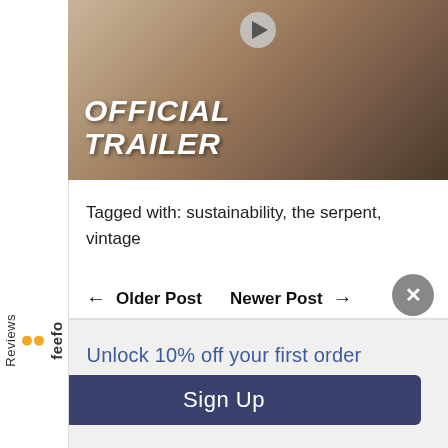[Figure (screenshot): Official Trailer thumbnail with play button, showing two people and text 'OFFICIAL TRAILER' in white bold italic font]
Tagged with: sustainability, the serpent, vintage
← Older Post   Newer Post →
Unlock 10% off your first order
Sign Up